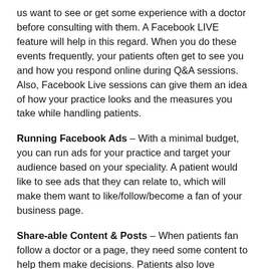us want to see or get some experience with a doctor before consulting with them. A Facebook LIVE feature will help in this regard. When you do these events frequently, your patients often get to see you and how you respond online during Q&A sessions. Also, Facebook Live sessions can give them an idea of how your practice looks and the measures you take while handling patients.
Running Facebook Ads – With a minimal budget, you can run ads for your practice and target your audience based on your speciality. A patient would like to see ads that they can relate to, which will make them want to like/follow/become a fan of your business page.
Share-able Content & Posts – When patients fan follow a doctor or a page, they need some content to help them make decisions. Patients also love reposting and sharing knowledgeable updates from the posts they follow. This will indirectly help you with a higher reach via your Facebook Business Profile.